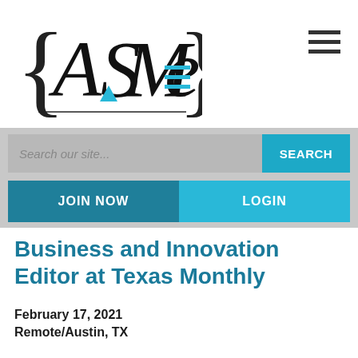[Figure (logo): ASME logo with curly braces and blue accent elements]
[Figure (other): Hamburger menu icon (three horizontal bars)]
[Figure (other): Search bar with placeholder 'Search our site...' and SEARCH button]
[Figure (other): JOIN NOW and LOGIN buttons]
Business and Innovation Editor at Texas Monthly
February 17, 2021
Remote/Austin, TX